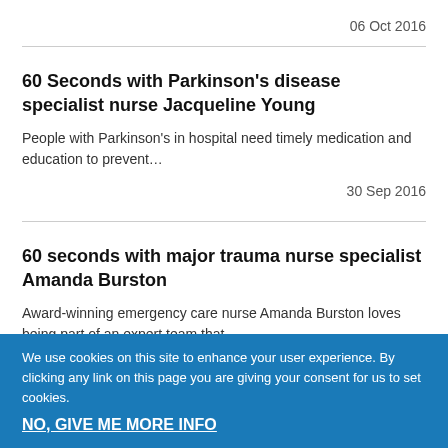06 Oct 2016
60 Seconds with Parkinson's disease specialist nurse Jacqueline Young
People with Parkinson's in hospital need timely medication and education to prevent…
30 Sep 2016
60 seconds with major trauma nurse specialist Amanda Burston
Award-winning emergency care nurse Amanda Burston loves being part of an expert team that…
We use cookies on this site to enhance your user experience. By clicking any link on this page you are giving your consent for us to set cookies.
NO, GIVE ME MORE INFO